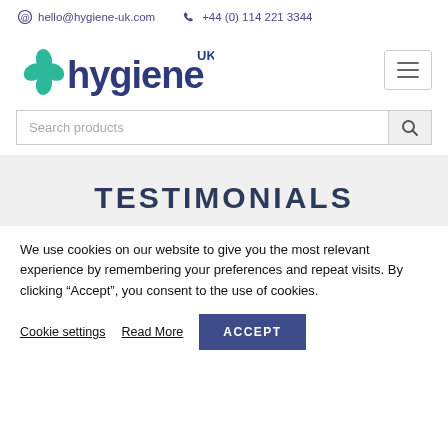hello@hygiene-uk.com  +44 (0) 114 221 3344
[Figure (logo): Hygiene UK logo with teal four-leaf clover icon and dark blue text reading 'hygiene' with 'UK' superscript]
[Figure (other): Hamburger menu button (three horizontal lines) in a bordered box]
[Figure (other): Search bar with placeholder text 'Search products' and magnifying glass icon button]
TESTIMONIALS
We use cookies on our website to give you the most relevant experience by remembering your preferences and repeat visits. By clicking “Accept”, you consent to the use of cookies.
Cookie settings  Read More  ACCEPT